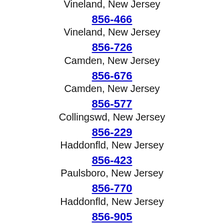Vineland, New Jersey
856-466
Vineland, New Jersey
856-726
Camden, New Jersey
856-676
Camden, New Jersey
856-577
Collingswd, New Jersey
856-229
Haddonfld, New Jersey
856-423
Paulsboro, New Jersey
856-770
Haddonfld, New Jersey
856-905
Haddonfld, New Jersey